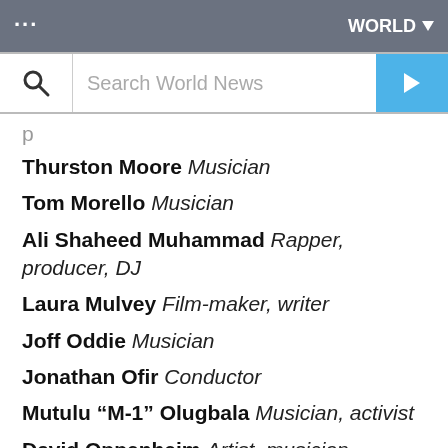... WORLD
[Figure (screenshot): Search bar with magnifying glass icon, 'Search World News' placeholder text, and blue arrow button]
Thurston Moore Musician
Tom Morello Musician
Ali Shaheed Muhammad Rapper, producer, DJ
Laura Mulvey Film-maker, writer
Joff Oddie Musician
Jonathan Ofir Conductor
Mutulu “M-1” Olugbala Musician, activist
David Oppenheim Artist, musician
Maxine Peake Actor